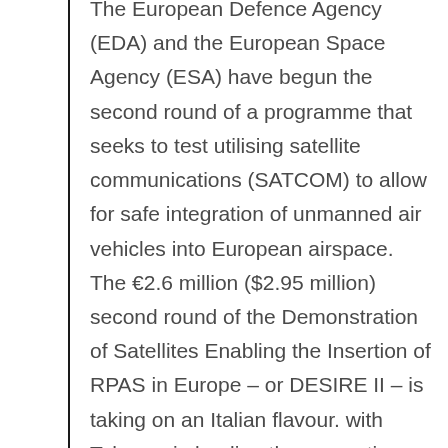The European Defence Agency (EDA) and the European Space Agency (ESA) have begun the second round of a programme that seeks to test utilising satellite communications (SATCOM) to allow for safe integration of unmanned air vehicles into European airspace. The €2.6 million ($2.95 million) second round of the Demonstration of Satellites Enabling the Insertion of RPAS in Europe – or DESIRE II – is taking on an Italian flavour. with Telespazio leading the consortium and the Piaggio Aero P.1HH Hammerhead UAV being used for the 18-month phase of the